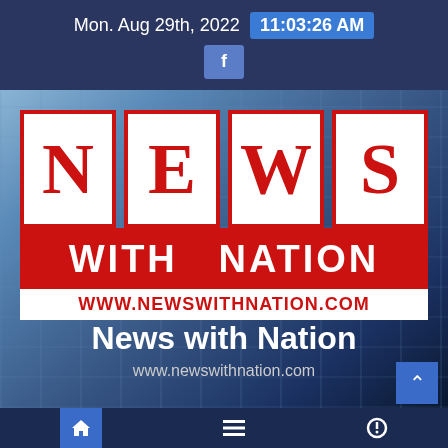Mon. Aug 29th, 2022  11:03:26 AM
[Figure (logo): News with Nation logo with four letter boxes N, E, W, S in red and white, WITH NATION in white on red bar, www.newswithnation.com URL bar]
News with Nation
www.newswithnation.com